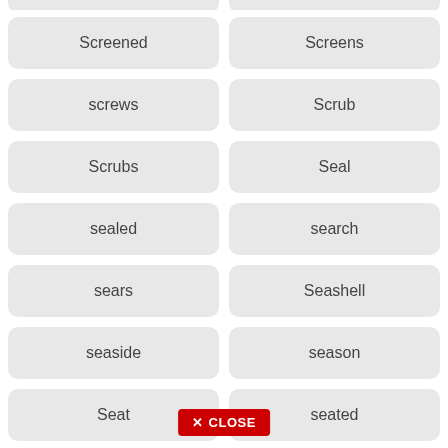Screened
Screens
screws
Scrub
Scrubs
Seal
sealed
search
sears
Seashell
seaside
season
Seat
seated
seating
seattle
second
secrets